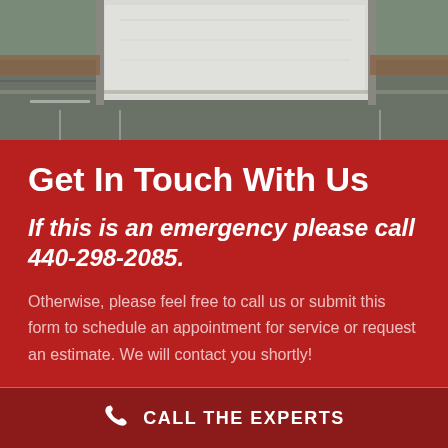[Figure (photo): Aerial view of a commercial building rooftop and parking lot]
Get In Touch With Us
If this is an emergency please call 440-298-2085.
Otherwise, please feel free to call us or submit this form to schedule an appointment for service or request an estimate. We will contact you shortly!
CALL THE EXPERTS